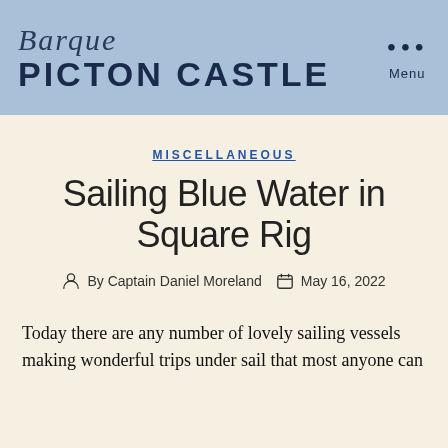Barque PICTON CASTLE
MISCELLANEOUS
Sailing Blue Water in Square Rig
By Captain Daniel Moreland   May 16, 2022
Today there are any number of lovely sailing vessels making wonderful trips under sail that most anyone can